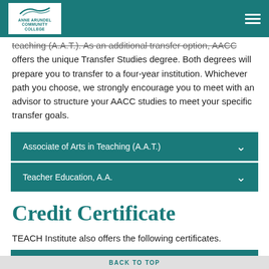Anne Arundel Community College
teaching (A.A.T.). As an additional transfer option, AACC offers the unique Transfer Studies degree. Both degrees will prepare you to transfer to a four-year institution. Whichever path you choose, we strongly encourage you to meet with an advisor to structure your AACC studies to meet your specific transfer goals.
Associate of Arts in Teaching (A.A.T.)
Teacher Education, A.A.
Credit Certificate
TEACH Institute also offers the following certificates.
Special Education Support Certificate
BACK TO TOP